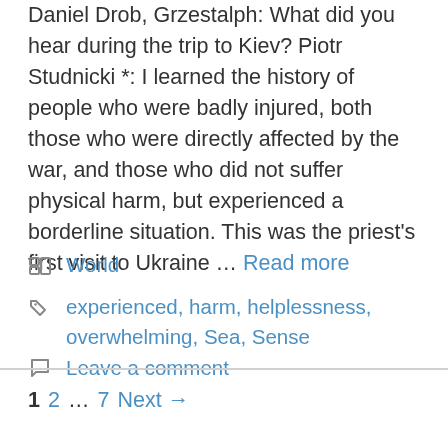Daniel Drob, Grzesialph: What did you hear during the trip to Kiev? Piotr Studnicki *: I learned the history of people who were badly injured, both those who were directly affected by the war, and those who did not suffer physical harm, but experienced a borderline situation. This was the priest's first visit to Ukraine ... Read more
World
experienced, harm, helplessness, overwhelming, Sea, Sense
Leave a comment
1 2 ... 7 Next →